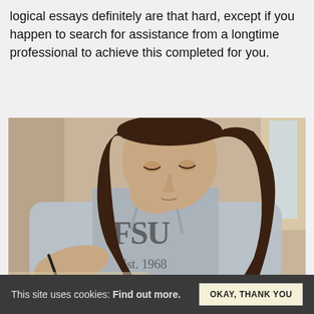logical essays definitely are that hard, except if you happen to search for assistance from a longtime professional to achieve this completed for you.
[Figure (photo): Young woman with long dark hair wearing a grey hoodie with 'FSU Est. 1968' text, leaning over a desk writing with a pen, photographed from above at an angle.]
This site uses cookies: Find out more.  OKAY, THANK YOU